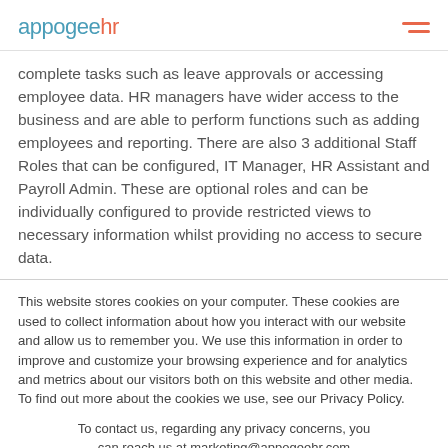appogeehr
complete tasks such as leave approvals or accessing employee data. HR managers have wider access to the business and are able to perform functions such as adding employees and reporting. There are also 3 additional Staff Roles that can be configured, IT Manager, HR Assistant and Payroll Admin. These are optional roles and can be individually configured to provide restricted views to necessary information whilst providing no access to secure data.
This website stores cookies on your computer. These cookies are used to collect information about how you interact with our website and allow us to remember you. We use this information in order to improve and customize your browsing experience and for analytics and metrics about our visitors both on this website and other media. To find out more about the cookies we use, see our Privacy Policy.
To contact us, regarding any privacy concerns, you can reach us at marketing@appogeehr.com